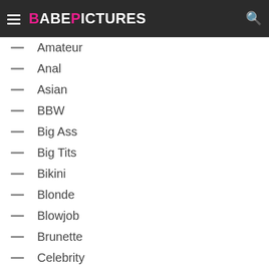BABEPICTURES
Amateur
Anal
Asian
BBW
Big Ass
Big Tits
Bikini
Blonde
Blowjob
Brunette
Celebrity
Collection
Cumshots
Ebony/Black
Group
Handjob
Hardcore